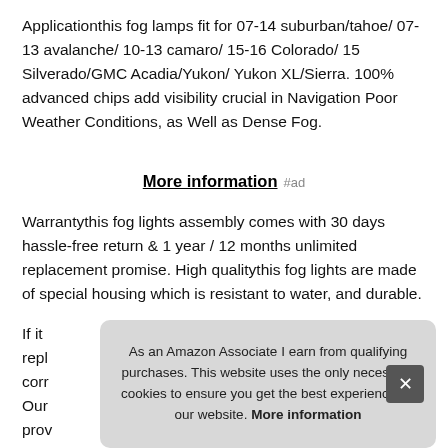Applicationthis fog lamps fit for 07-14 suburban/tahoe/ 07-13 avalanche/ 10-13 camaro/ 15-16 Colorado/ 15 Silverado/GMC Acadia/Yukon/ Yukon XL/Sierra. 100% advanced chips add visibility crucial in Navigation Poor Weather Conditions, as Well as Dense Fog.
More information #ad
Warrantythis fog lights assembly comes with 30 days hassle-free return & 1 year / 12 months unlimited replacement promise. High qualitythis fog lights are made of special housing which is resistant to water, and durable.
If it repl corr Our prov
As an Amazon Associate I earn from qualifying purchases. This website uses the only necessary cookies to ensure you get the best experience on our website. More information